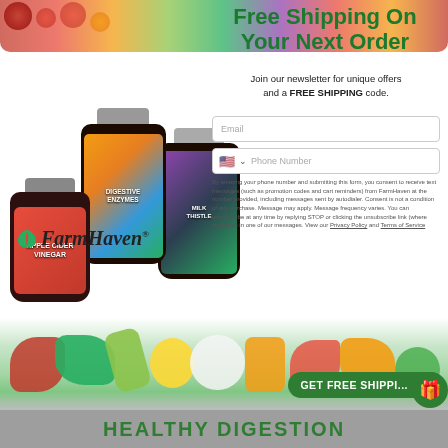Free Shipping On Your Next Order
Join our newsletter for unique offers and a FREE SHIPPING code.
[Figure (photo): Three supplement bottles: Apple Cider Vinegar, Digestive Enzymes, and Milk Thistle product from FarmHaven]
[Figure (logo): FarmHaven logo with green leaf icon and italic brand name]
Email
Phone Number
By entering your phone number and submitting this form, you consent to receive text messages (such as promotion codes and cart reminders) from FarmHaven at the number provided, including messages sent by autodialer. Consent is not a condition of any purchase. Message may apply. Message frequency varies. You can unsubscribe at any time by replying STOP or clicking the unsubscribe link (where available) in one of our messages. View our Privacy Policy and Terms of Service
[Figure (photo): Fresh vegetables and produce spread across bottom: cabbage, asparagus, corn, cauliflower, carrots, peppers, and other colorful produce]
GET FREE SHIPPING
HEALTHY DIGESTION